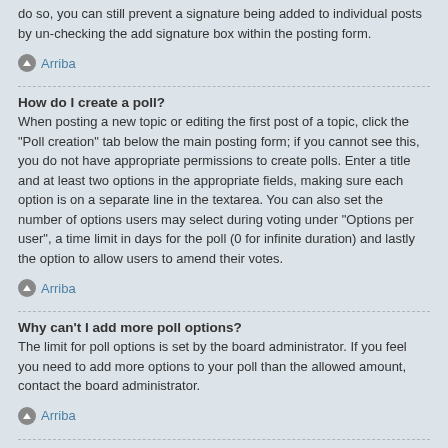do so, you can still prevent a signature being added to individual posts by unchecking the add signature box within the posting form.
Arriba
How do I create a poll?
When posting a new topic or editing the first post of a topic, click the "Poll creation" tab below the main posting form; if you cannot see this, you do not have appropriate permissions to create polls. Enter a title and at least two options in the appropriate fields, making sure each option is on a separate line in the textarea. You can also set the number of options users may select during voting under "Options per user", a time limit in days for the poll (0 for infinite duration) and lastly the option to allow users to amend their votes.
Arriba
Why can't I add more poll options?
The limit for poll options is set by the board administrator. If you feel you need to add more options to your poll than the allowed amount, contact the board administrator.
Arriba
How do I edit or delete a poll?
As with posts, polls can only be edited by the original poster, a moderator or an administrator. To edit a poll, click to edit the first post in the topic; this always has